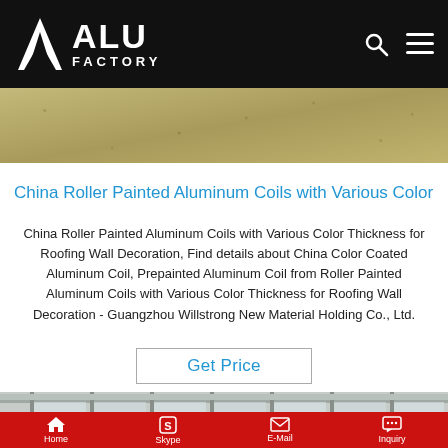[Figure (logo): ALU FACTORY logo — white triangle/chevron icon with bold white ALU on top and FACTORY below, on black background header bar with search and menu icons]
[Figure (photo): Close-up texture strip of rough sandy/granular surface in olive-tan color]
China Roller Painted Aluminum Coils with Various Color
China Roller Painted Aluminum Coils with Various Color Thickness for Roofing Wall Decoration, Find details about China Color Coated Aluminum Coil, Prepainted Aluminum Coil from Roller Painted Aluminum Coils with Various Color Thickness for Roofing Wall Decoration - Guangzhou Willstrong New Material Holding Co., Ltd.
[Figure (other): Get Price button with blue text and light gray border]
[Figure (photo): Partial view of an industrial factory building exterior with metal roof panels and structural columns]
Home   Skype   E-Mail   Inquiry